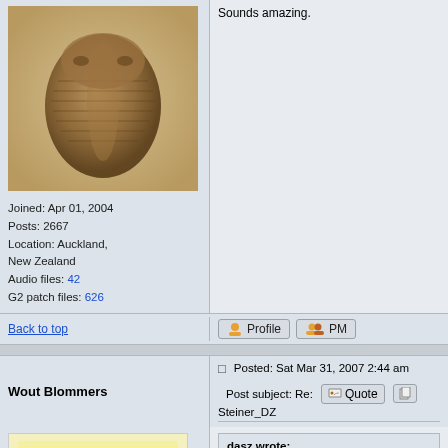[Figure (photo): Trilobite fossil photo used as user avatar]
Joined: Apr 01, 2004
Posts: 2667
Location: Auckland, New Zealand
Audio files: 42
G2 patch files: 626
Sounds amazing.
Back to top
Profile  PM
Wout Blommers
Posted: Sat Mar 31, 2007 2:44 am   Post subject: Re: Steiner_DZ
[Figure (illustration): Avatar image showing a headphone/loop shape on yellow background]
Joined: Sep 07, 2003
Posts: 4527
Location: The Hague - The Netherlands
Audio files: 123
G2 patch files: 12
dasz wrote:
Here is a picture of me.
Wonderful tug boat, BTW 🙂

Wout